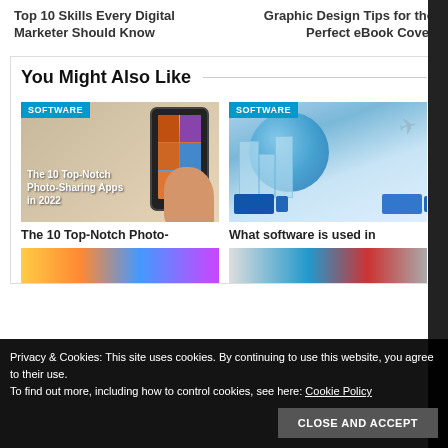Top 10 Skills Every Digital Marketer Should Know
Graphic Design Tips for the Perfect eBook Cover
You Might Also Like
[Figure (photo): Hand holding a smartphone with a photo-sharing app, overlaid with text: The 10 Top-Notch Photo-Sharing Apps in 2022]
[Figure (photo): Digital logistics concept: globe, buildings, airplane, and blue trucks representing global supply chain software]
The 10 Top-Notch Photo-
What software is used in
Privacy & Cookies: This site uses cookies. By continuing to use this website, you agree to their use.
To find out more, including how to control cookies, see here: Cookie Policy
CLOSE AND ACCEPT